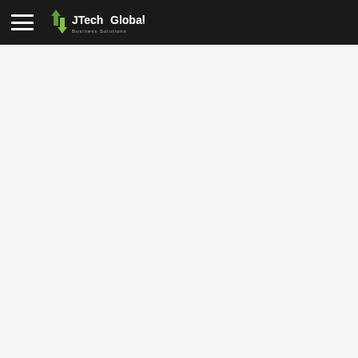JTech Global Business Solutions
[Figure (logo): JTech Global Business Solutions logo with hamburger menu icon on dark background header bar]